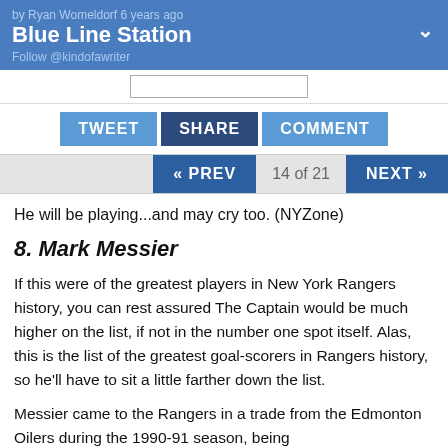Blue Line Station — by Ryan Womeldorf 6 years ago
Follow @kindofawriter
TWEET  SHARE  COMMENT
« PREV  14 of 21  NEXT »
He will be playing...and may cry too. (NYZone)
8. Mark Messier
If this were of the greatest players in New York Rangers history, you can rest assured The Captain would be much higher on the list, if not in the number one spot itself. Alas, this is the list of the greatest goal-scorers in Rangers history, so he'll have to sit a little farther down the list.
Messier came to the Rangers in a trade from the Edmonton Oilers during the 1990-91 season, being